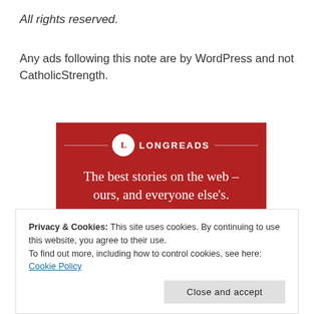All rights reserved.
Any ads following this note are by WordPress and not CatholicStrength.
[Figure (advertisement): Longreads ad on red background with text: The best stories on the web – ours, and everyone else's. With a 'Start reading' button.]
Privacy & Cookies: This site uses cookies. By continuing to use this website, you agree to their use.
To find out more, including how to control cookies, see here: Cookie Policy